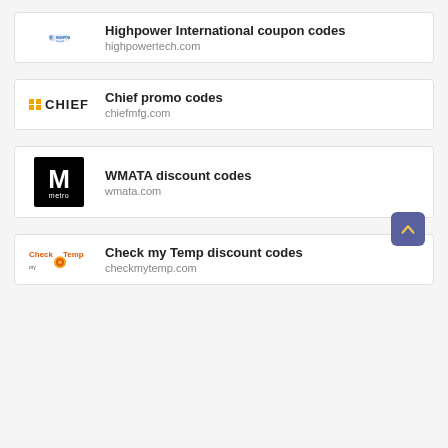Highpower International coupon codes
highpowertech.com
Chief promo codes
chiefmfg.com
WMATA discount codes
wmata.com
Check my Temp discount codes
checkmytemp.com